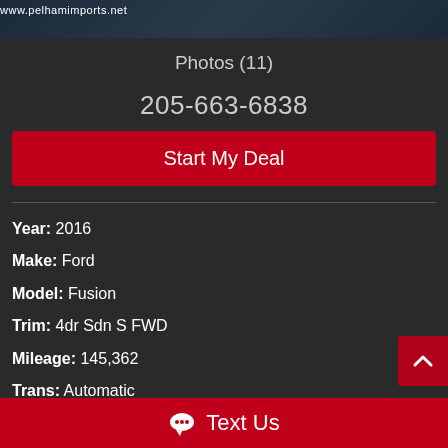[Figure (photo): Partial car dealership banner image with website URL www.pelhamimports.net visible on dark background]
Photos (11)
205-663-6838
Start My Deal
Year: 2016
Make: Ford
Model: Fusion
Trim: 4dr Sdn S FWD
Mileage: 145,362
Trans: Automatic
Text Us